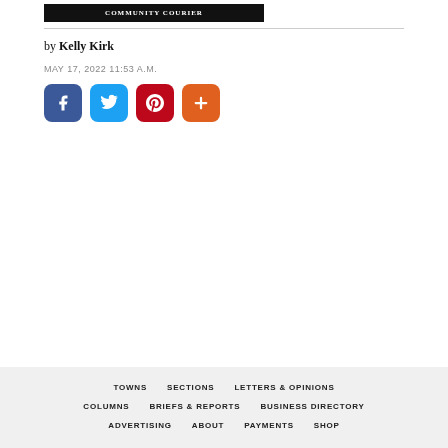COMMUNITY COURIER
by Kelly Kirk
MAY 17, 2022 11:53 A.M.
[Figure (other): Social media sharing buttons: Facebook (blue), Twitter (blue), Pinterest (red), More (orange)]
TOWNS   SECTIONS   LETTERS & OPINIONS   COLUMNS   BRIEFS & REPORTS   BUSINESS DIRECTORY   ADVERTISING   ABOUT   PAYMENTS   SHOP